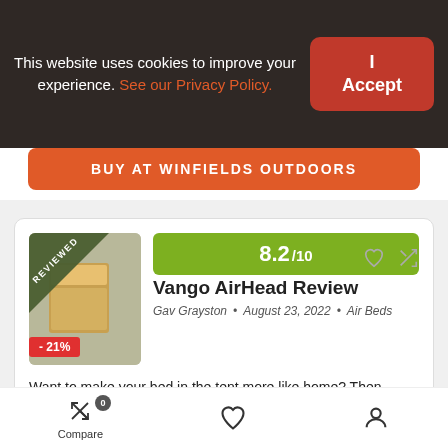This website uses cookies to improve your experience. See our Privacy Policy.
I Accept
BUY AT WINFIELDS OUTDOORS
[Figure (photo): Product image with REVIEWED banner and -21% discount badge]
8.2/10
Vango AirHead Review
Gav Grayston • August 23, 2022 • Air Beds
Want to make your bed in the tent more like home? Then check out the Vango AirHead inflatable mattress.
★★★★☆
Compare